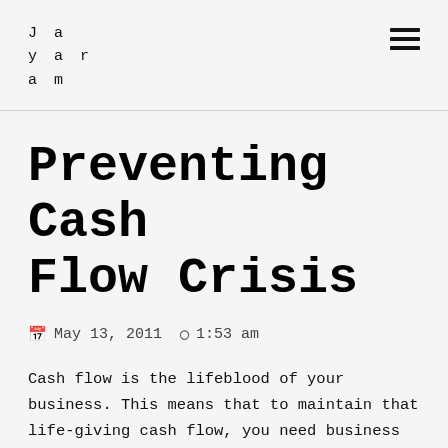Jayaram
Preventing Cash Flow Crisis
May 13, 2011  1:53 am
Cash flow is the lifeblood of your business. This means that to maintain that life-giving cash flow, you need business clients who pay on time and in full. But this isn't always going to be the case, especially considering the current economic climate. As such, it's possible that you'll